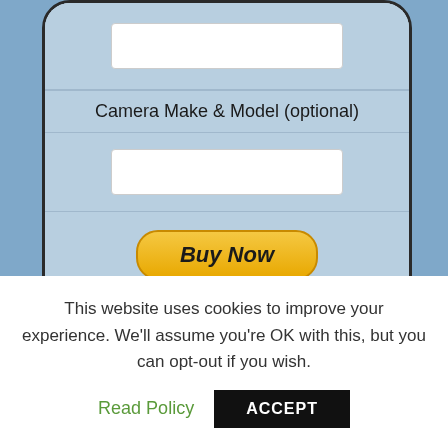[Figure (screenshot): Partial screenshot of a payment form inside a mobile device frame on a blue background, showing two white input fields, a label 'Camera Make & Model (optional)', a gold 'Buy Now' button, and payment method icons (Mastercard, Maestro, Visa, Visa Electron, Amex, Direct Debit).]
Filters and kit required for the Intermediate Course
This website uses cookies to improve your experience. We'll assume you're OK with this, but you can opt-out if you wish.
Read Policy
ACCEPT